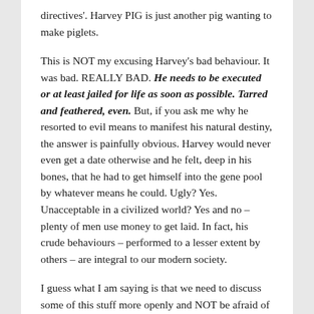directives'.  Harvey PIG is just another pig wanting to make piglets.
This is NOT my excusing Harvey's bad behaviour.  It was bad.  REALLY BAD.  He needs to be executed or at least jailed for life as soon as possible.  Tarred and feathered, even.  But, if you ask me why he resorted to evil means to manifest his natural destiny, the answer is painfully obvious.  Harvey would never even get a date otherwise and he felt, deep in his bones, that he had to get himself into the gene pool by whatever means he could.  Ugly?  Yes.  Unacceptable in a civilized world?  Yes and no – plenty of men use money to get laid.  In fact, his crude behaviours – performed to a lesser extent by others – are integral to our modern society.
I guess what I am saying is that we need to discuss some of this stuff more openly and NOT be afraid of the topic or the 'hot' words that might be employed when we do.  If we don't re-open the questions, it is